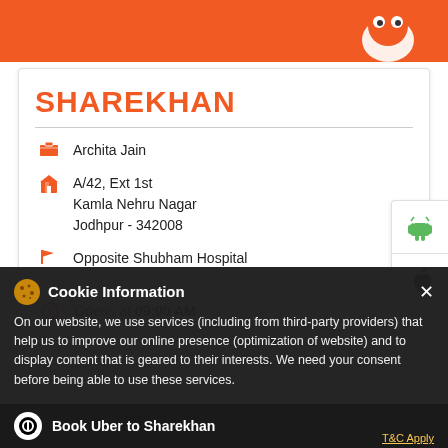[Figure (screenshot): Orange header bar with mascot character at top right]
SHAREKHAN
Archita Jain
A/42, Ext 1st
Kamla Nehru Nagar
Jodhpur - 342008
Opposite Shubham Hospital
Opens at 09:00 AM
[Figure (screenshot): Android app icon tab on right side]
[Figure (screenshot): Apple app icon tab on right side]
Cookie Information
On our website, we use services (including from third-party providers) that help us to improve our online presence (optimization of website) and to display content that is geared to their interests. We need your consent before being able to use these services.
LOOKING FOR A BETTER DEMAT
Book Uber to Sharekhan
T&C Apply